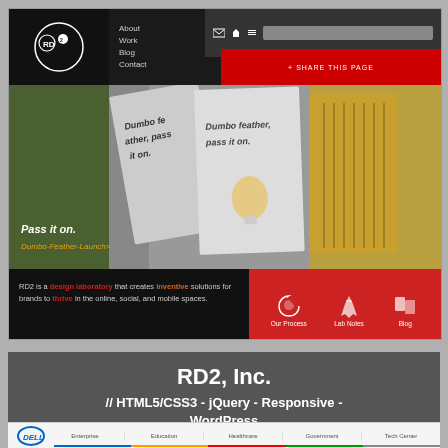[Figure (screenshot): Screenshot of RD2 Inc. website showing dark header with logo and navigation (About, Work, Blog, Contact), a hero section with 'Dumbo feather, pass it on.' books imagery and 'Pass it on.' text with orange 'Dumbo-Feather-Launch' subtext, and a lower section with black panel containing company description and a red panel with Our Process, Lab Notes, Blog icon links. A 'Recent Launch' bar is visible at the bottom of the screenshot.]
RD2, Inc.
// HTML5/CSS3 - jQuery - Responsive - WordPress
VISIT SITE
[Figure (screenshot): Partial screenshot of Dell website showing logo and navigation tabs: Enterprise, Education, Healthcare, Government, Tech Center with colored bars underneath.]